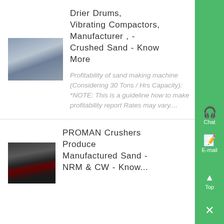[Figure (photo): Industrial equipment photo — metallic structures, likely drier drums or compactors in a warehouse]
Drier Drums, Vibrating Compactors, Manufacturer , - Crushed Sand - Know More
Profitability of sand making machine (Considering 30 Tons / Hrs Capacity): *NOTE: This is a guideline how to make profitability report Rates may vary....
[Figure (photo): Industrial crusher/machinery photo in a factory setting with red machinery visible]
PROMAN Crushers Produce Manufactured Sand - NRM & CW - Know...